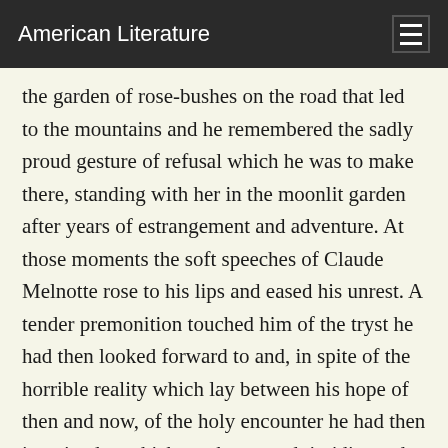American Literature
the garden of rose-bushes on the road that led to the mountains and he remembered the sadly proud gesture of refusal which he was to make there, standing with her in the moonlit garden after years of estrangement and adventure. At those moments the soft speeches of Claude Melnotte rose to his lips and eased his unrest. A tender premonition touched him of the tryst he had then looked forward to and, in spite of the horrible reality which lay between his hope of then and now, of the holy encounter he had then imagined at which weakness and timidity and inexperience were to fall from him.
Such moments passed and the wasting fires of lust